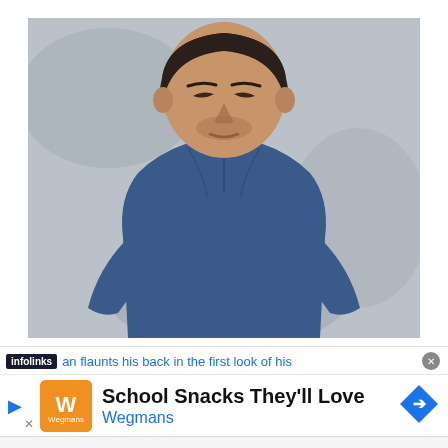[Figure (photo): A man with short dark hair wearing a dark blue shirt, posing against a gray textured background. He appears to be a Bollywood actor.]
infolinks an flaunts his back in the first look of his
[Figure (infographic): Advertisement banner: Wegmans 'School Snacks They'll Love' ad with orange logo and blue navigation arrow]